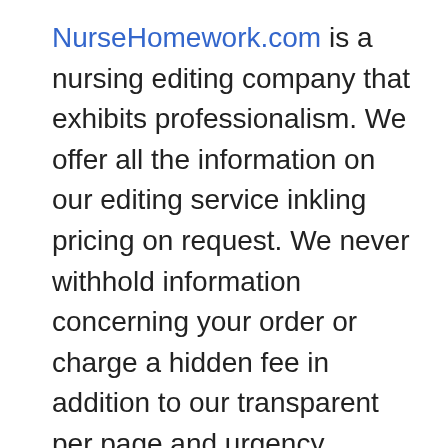NurseHomework.com is a nursing editing company that exhibits professionalism. We offer all the information on our editing service inkling pricing on request. We never withhold information concerning your order or charge a hidden fee in addition to our transparent per page and urgency pricing. We are considerate of the short time frame within which you should handover the nursing care plan to the next shift or your lecturer. At nurse Homework, we always ensure that you will get a perfect nursing care plan after the editing within the deadline you fill on our order page. If something does not satisfy you, ask us for revision. We will amend it free until you are happy with the care plan. We